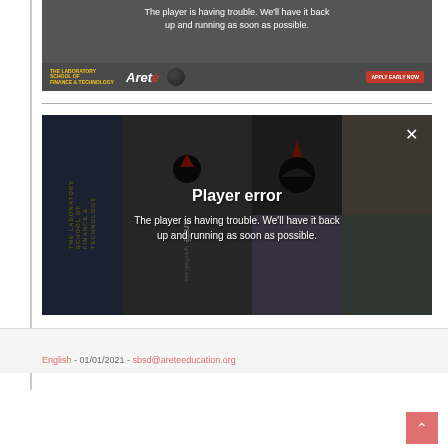[Figure (screenshot): Top video player showing error message 'The player is having trouble. We'll have it back up and running as soon as possible.' with The Laboratory School of Finance & Technology and Areté branding banner at bottom.]
[Figure (screenshot): Main video player with 'Player error' overlay. Error message reads: 'The player is having trouble. We'll have it back up and running as soon as possible.' Background shows photo grid with students and Laboratory School of Finance & Technology / Areté branding. Close (X) button visible top right.]
English - 01/01/2021 - sbsd@areteeducation.org